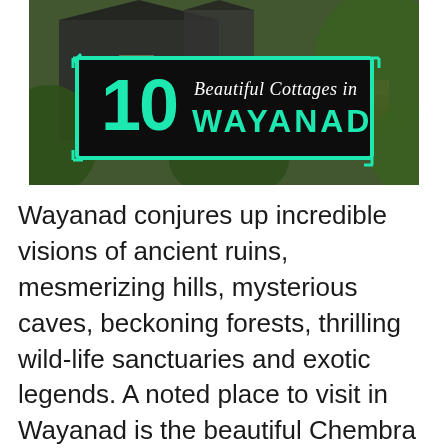[Figure (photo): Photo of a cottage building surrounded by lush green trees and plants, with an overlaid graphic banner featuring a teal/green rectangular border containing the text '10 Beautiful Cottages in WAYANAD' in large stylized fonts.]
Wayanad conjures up incredible visions of ancient ruins, mesmerizing hills, mysterious caves, beckoning forests, thrilling wild-life sanctuaries and exotic legends. A noted place to visit in Wayanad is the beautiful Chembra Peak, because it offers glimpses of stunning, bewitching views of pristine nature. Seeped in history and culture, there are a number of